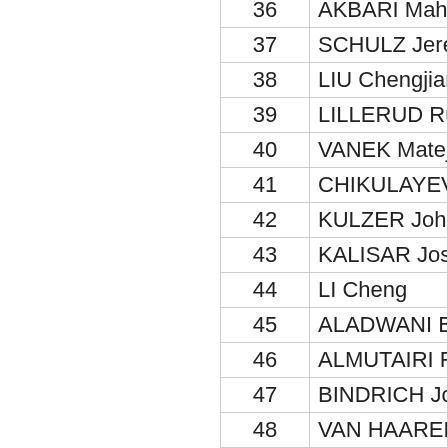| # | Name |
| --- | --- |
| 36 | AKBARI Mahdi |
| 37 | SCHULZ Jeremy |
| 38 | LIU Chengjiang |
| 39 | LILLERUD Ruben |
| 40 | VANEK Matej |
| 41 | CHIKULAYEV Artyom |
| 42 | KULZER Johannes |
| 43 | KALISAR Josip |
| 44 | LI Cheng |
| 45 | ALADWANI Bader |
| 46 | ALMUTAIRI Fares |
| 47 | BINDRICH Jonas |
| 48 | VAN HAAREN Matthew |
| 49 | GROBBELAAR Daniel |